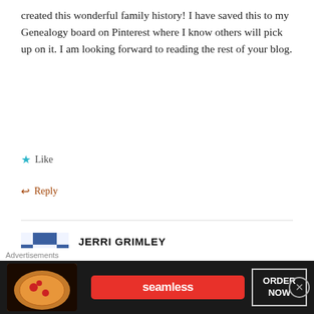created this wonderful family history! I have saved this to my Genealogy board on Pinterest where I know others will pick up on it. I am looking forward to reading the rest of your blog.
Like
Reply
JERRI GRIMLEY
January 4, 2017 / 1:52 pm
I really like your Family History Binder and that you are sharing your process. I know this is for direct ancestors only, but how do you keep the rest of your information, for the
Advertisements
[Figure (screenshot): Seamless food delivery advertisement banner with pizza image, red Seamless logo badge, and ORDER NOW button on dark background]